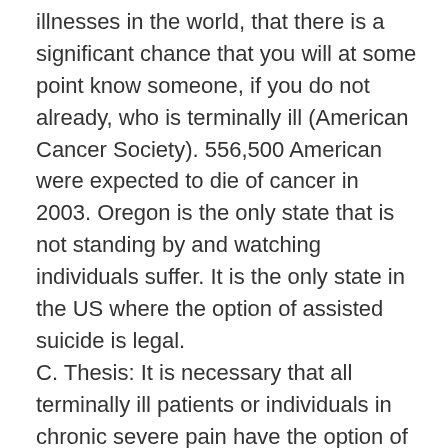illnesses in the world, that there is a significant chance that you will at some point know someone, if you do not already, who is terminally ill (American Cancer Society). 556,500 American were expected to die of cancer in 2003. Oregon is the only state that is not standing by and watching individuals suffer. It is the only state in the US where the option of assisted suicide is legal.
C. Thesis: It is necessary that all terminally ill patients or individuals in chronic severe pain have the option of a peaceful and quick death to minimize suffering.
D. Preview: I will address the arguments opposed to euthanasia. First, I will discuss why the slippery slope argument is a fallacy, why proper pain management is not good enough for the terminally ill, and why euthanasia should